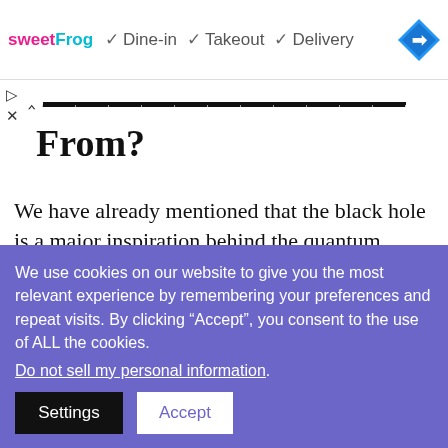[Figure (screenshot): Ad banner showing sweetFrog logo with checkmarks for Dine-in, Takeout, Delivery and a navigation/directions icon]
From?
We have already mentioned that the black hole is a major inspiration behind the quantum hologram principle. Now in 1974, Stephen Hawking found out that black holes emit specific amounts of radiation over time,
We use cookies on our website to give you the most relevant experience by remembering your preferences and repeat visits. By clicking “Accept”, you consent to the use of ALL the cookies. Do not sell my personal information.